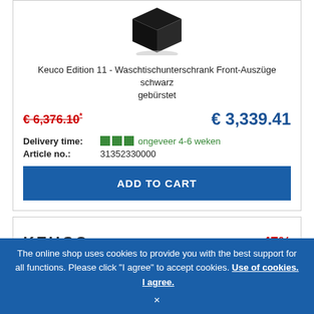[Figure (photo): Black cabinet product image shown from above/angle]
Keuco Edition 11 - Waschtischunterschrank Front-Auszüge schwarz gebürstet
€ 6,376.10* (strikethrough old price) and € 3,339.41 (new price in blue)
Delivery time: ongeveer 4-6 weken
Article no.: 31352330000
ADD TO CART
KEUCO -47%
The online shop uses cookies to provide you with the best support for all functions. Please click "I agree" to accept cookies. Use of cookies. I agree. ×